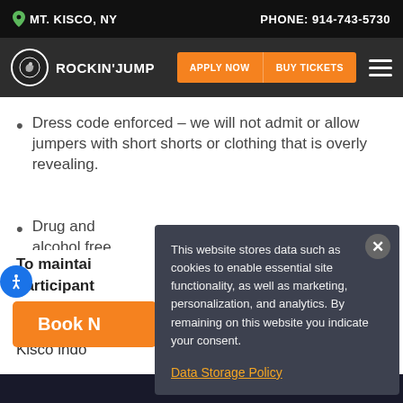MT. KISCO, NY   PHONE: 914-743-5730
[Figure (logo): Rockin' Jump logo with orange Apply Now and Buy Tickets buttons and hamburger menu]
Dress code enforced – we will not admit or allow jumpers with short shorts or clothing that is overly revealing.
Drug and alcohol free zone!
To maintain participant SOCKS for socks are m Kisco indo
This website stores data such as cookies to enable essential site functionality, as well as marketing, personalization, and analytics. By remaining on this website you indicate your consent.
Data Storage Policy